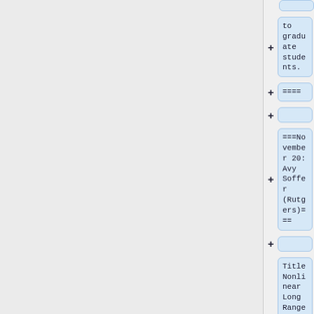to graduate students.
====    ====
===November 20: Avy Soffer (Rutgers)===
Title Nonlinear Long Range Scattering and Normal Form Analysis"